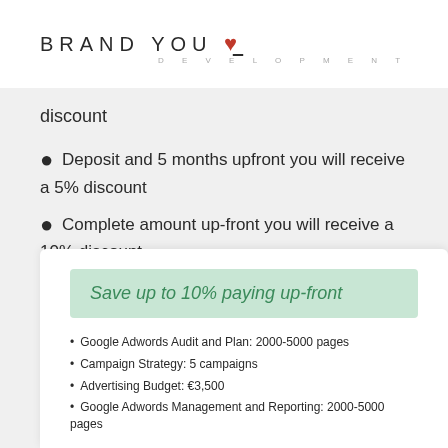[Figure (logo): Brand You Development logo — bold spaced caps 'BRAND YOU' with a small red heart icon, and 'DEVELOPMENT' in small spaced gray caps below]
discount
Deposit and 5 months upfront you will receive a 5% discount
Complete amount up-front you will receive a 10% discount
Save up to 10% paying up-front
Google Adwords Audit and Plan: 2000-5000 pages
Campaign Strategy: 5 campaigns
Advertising Budget: €3,500
Google Adwords Management and Reporting: 2000-5000 pages